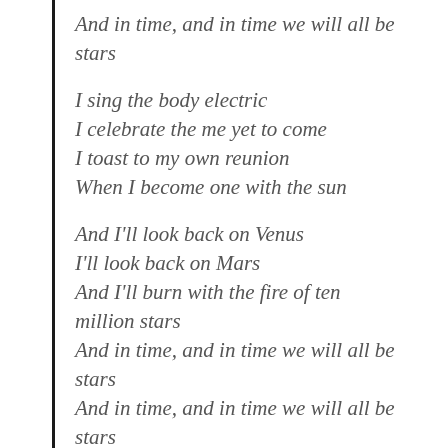And in time, and in time we will all be stars
I sing the body electric
I celebrate the me yet to come
I toast to my own reunion
When I become one with the sun
And I'll look back on Venus
I'll look back on Mars
And I'll burn with the fire of ten million stars
And in time, and in time we will all be stars
And in time, and in time we will all be stars